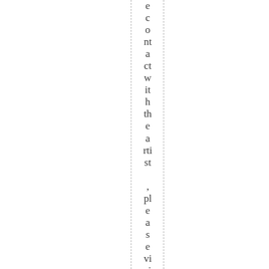e contact with the artist, please visit the